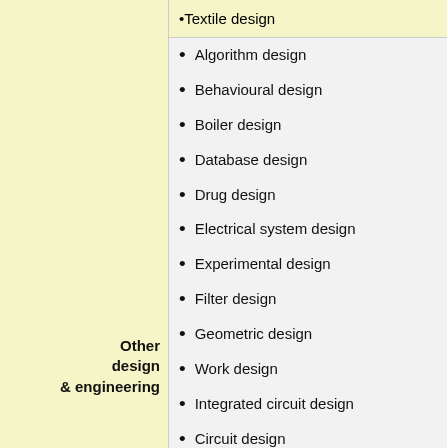Textile design
Algorithm design
Behavioural design
Boiler design
Database design
Drug design
Electrical system design
Experimental design
Filter design
Geometric design
Work design
Integrated circuit design
Circuit design
Physical design
Other design & engineering
Power network design
Mechanism design
Nuclear weapon design
Nucleic acid design